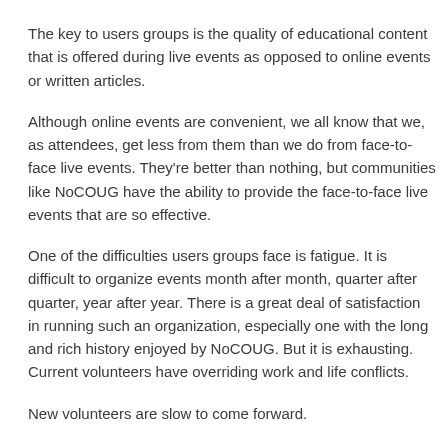The key to users groups is the quality of educational content that is offered during live events as opposed to online events or written articles.
Although online events are convenient, we all know that we, as attendees, get less from them than we do from face-to-face live events. They're better than nothing, but communities like NoCOUG have the ability to provide the face-to-face live events that are so effective.
One of the difficulties users groups face is fatigue. It is difficult to organize events month after month, quarter after quarter, year after year. There is a great deal of satisfaction in running such an organization, especially one with the long and rich history enjoyed by NoCOUG. But it is exhausting. Current volunteers have overriding work and life conflicts.
New volunteers are slow to come forward.